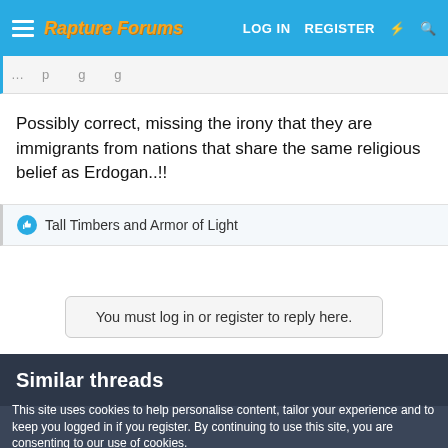Rapture Forums  LOG IN  REGISTER
Possibly correct, missing the irony that they are immigrants from nations that share the same religious belief as Erdogan..!!
Tall Timbers and Armor of Light
You must log in or register to reply here.
Similar threads
This site uses cookies to help personalise content, tailor your experience and to keep you logged in if you register. By continuing to use this site, you are consenting to our use of cookies.